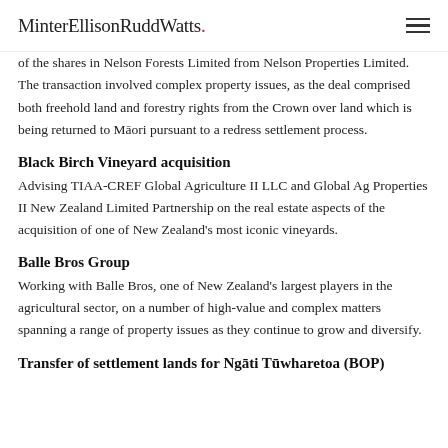MinterEllisonRuddWatts.
of the shares in Nelson Forests Limited from Nelson Properties Limited. The transaction involved complex property issues, as the deal comprised both freehold land and forestry rights from the Crown over land which is being returned to Māori pursuant to a redress settlement process.
Black Birch Vineyard acquisition
Advising TIAA-CREF Global Agriculture II LLC and Global Ag Properties II New Zealand Limited Partnership on the real estate aspects of the acquisition of one of New Zealand's most iconic vineyards.
Balle Bros Group
Working with Balle Bros, one of New Zealand's largest players in the agricultural sector, on a number of high-value and complex matters spanning a range of property issues as they continue to grow and diversify.
Transfer of settlement lands for Ngāti Tūwharetoa (BOP)